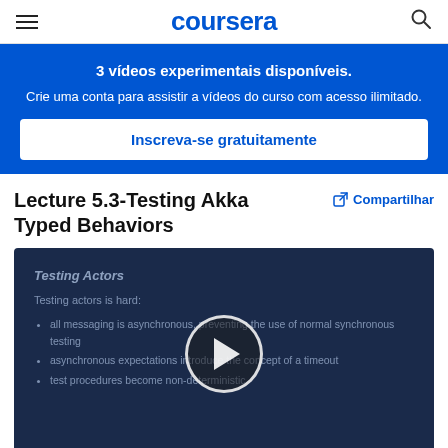coursera
3 vídeos experimentais disponíveis.
Crie uma conta para assistir a vídeos do curso com acesso ilimitado.
Inscreva-se gratuitamente
Lecture 5.3-Testing Akka Typed Behaviors
Compartilhar
[Figure (screenshot): Video player showing Testing Actors slide with text: Testing actors is hard; all messaging is asynchronous, preventing the use of normal synchronous testing; asynchronous expectations introduce the concept of a timeout; test procedures become non-deterministic. A play button is centered over the video.]